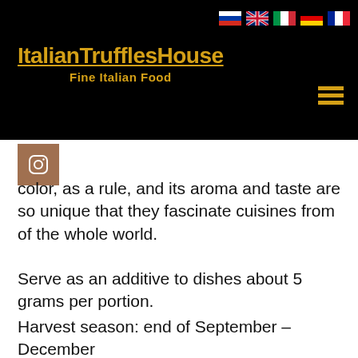ItalianTrufflesHouse
Fine Italian Food
color, as a rule, and its aroma and taste are so unique that they fascinate cuisines from of the whole world.
Serve as an additive to dishes about 5 grams per portion.
Harvest season: end of September – December